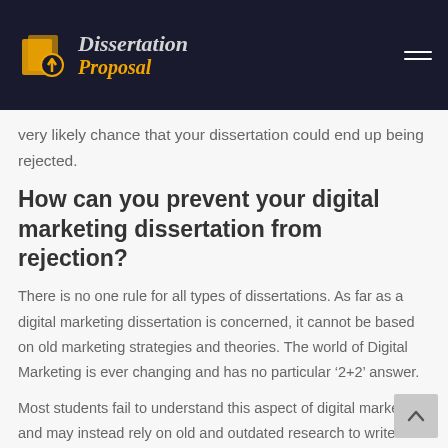Dissertation Proposal
very likely chance that your dissertation could end up being rejected.
How can you prevent your digital marketing dissertation from rejection?
There is no one rule for all types of dissertations. As far as a digital marketing dissertation is concerned, it cannot be based on old marketing strategies and theories. The world of Digital Marketing is ever changing and has no particular ‘2+2’ answer.
Most students fail to understand this aspect of digital marketing and may instead rely on old and outdated research to write their dissertation.